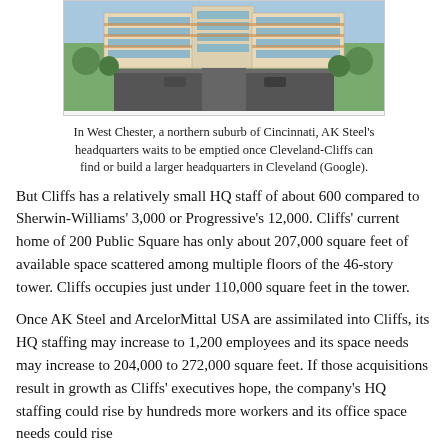[Figure (photo): Exterior photo of AK Steel headquarters building in West Chester, Ohio — a multi-story glass and brick office building with a parking lot and trees in the foreground.]
In West Chester, a northern suburb of Cincinnati, AK Steel's headquarters waits to be emptied once Cleveland-Cliffs can find or build a larger headquarters in Cleveland (Google).
But Cliffs has a relatively small HQ staff of about 600 compared to Sherwin-Williams' 3,000 or Progressive's 12,000. Cliffs' current home of 200 Public Square has only about 207,000 square feet of available space scattered among multiple floors of the 46-story tower. Cliffs occupies just under 110,000 square feet in the tower.
Once AK Steel and ArcelorMittal USA are assimilated into Cliffs, its HQ staffing may increase to 1,200 employees and its space needs may increase to 204,000 to 272,000 square feet. If those acquisitions result in growth as Cliffs' executives hope, the company's HQ staffing could rise by hundreds more workers and its office space needs could rise